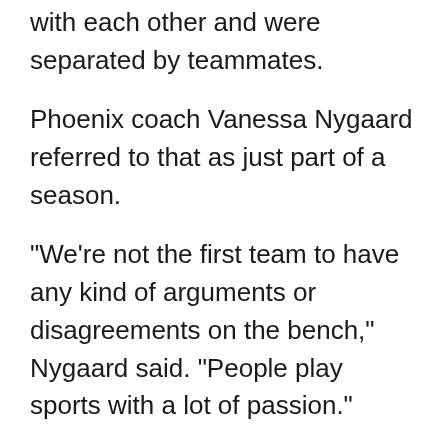with each other and were separated by teammates.
Phoenix coach Vanessa Nygaard referred to that as just part of a season.
"We're not the first team to have any kind of arguments or disagreements on the bench," Nygaard said. "People play sports with a lot of passion."
The Aces rallied from a 12-point hole as all five Las Vegas starters scored in double figures against the Mercury. Since that meeting, the Aces topped Minnesota while Phoenix lost to Dallas on Thursday night.